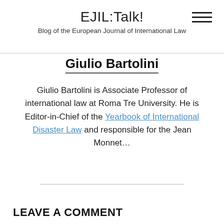EJIL:Talk! Blog of the European Journal of International Law
Giulio Bartolini
Giulio Bartolini is Associate Professor of international law at Roma Tre University. He is Editor-in-Chief of the Yearbook of International Disaster Law and responsible for the Jean Monnet…
LEAVE A COMMENT